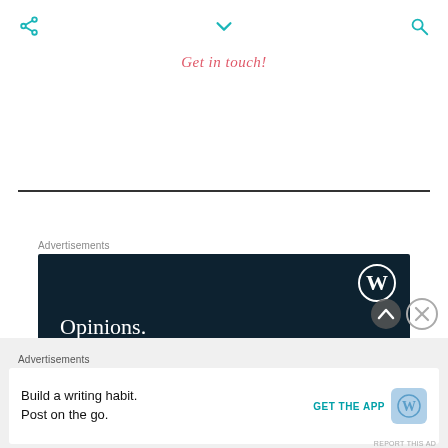[Figure (screenshot): Top navigation bar with share icon (left), chevron down icon (center), and search icon (right) in teal color on white background]
Get in touch!
[Figure (other): Horizontal divider line]
Advertisements
[Figure (screenshot): WordPress advertisement with dark navy background. WordPress logo (W in circle) top right. Text: Opinions. We all have them!]
Advertisements
[Figure (screenshot): Bottom banner ad on light grey background: Build a writing habit. Post on the go. GET THE APP with WordPress icon.]